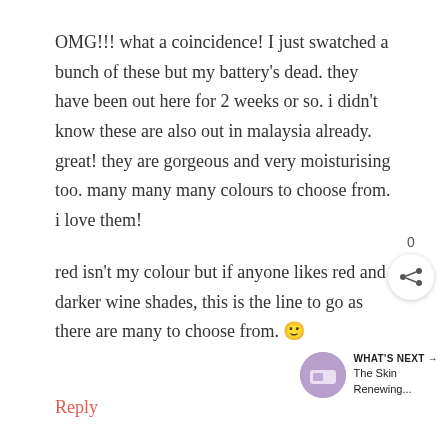OMG!!! what a coincidence! I just swatched a bunch of these but my battery's dead. they have been out here for 2 weeks or so. i didn't know these are also out in malaysia already. great! they are gorgeous and very moisturising too. many many many colours to choose from. i love them!
red isn't my colour but if anyone likes red and darker wine shades, this is the line to go as there are many to choose from. 🙂
[Figure (other): Share action button with count 0 above it]
[Figure (other): What's Next thumbnail with text 'WHAT'S NEXT → The Skin Renewing...']
Reply